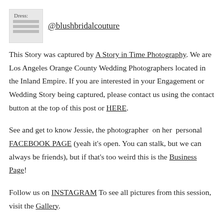[Figure (other): Small thumbnail image with text 'Dress:' overlaid, representing a dress photo, followed by '@blushbridalcouture' as a linked handle]
This Story was captured by A Story in Time Photography. We are Los Angeles Orange County Wedding Photographers located in the Inland Empire. If you are interested in your Engagement or Wedding Story being captured, please contact us using the contact button at the top of this post or HERE.
See and get to know Jessie, the photographer on her personal FACEBOOK PAGE (yeah it's open. You can stalk, but we can always be friends), but if that's too weird this is the Business Page!
Follow us on INSTAGRAM To see all pictures from this session, visit the Gallery.